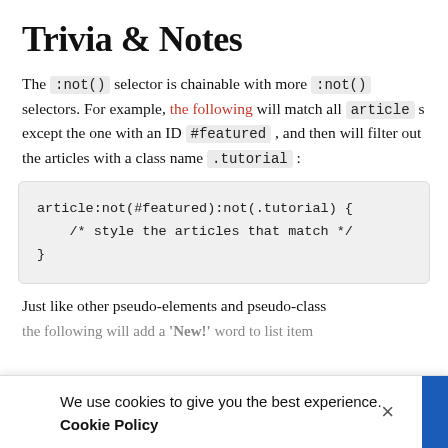Trivia & Notes
The :not() selector is chainable with more :not() selectors. For example, the following will match all article s except the one with an ID #featured , and then will filter out the articles with a class name .tutorial :
[Figure (screenshot): Code block showing: article:not(#featured):not(.tutorial) {
    /* style the articles that match */
}]
Just like other pseudo-elements and pseudo-class
We use cookies to give you the best experience. Cookie Policy
the following will add a 'New!' word to list item